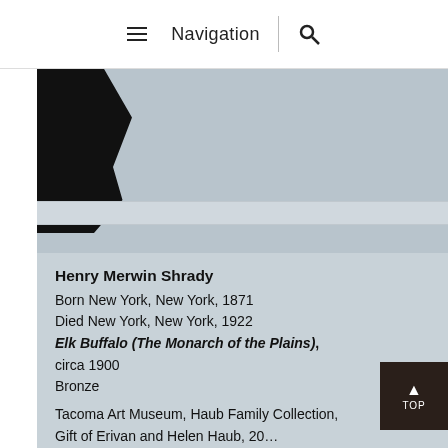≡ Navigation | 🔍
[Figure (photo): Museum display photo showing a dark bronze sculpture on a pedestal against a light blue-grey background. The sculpture is partially visible in the upper-left corner, showing a dark textured form.]
Henry Merwin Shrady
Born New York, New York, 1871
Died New York, New York, 1922
Elk Buffalo (The Monarch of the Plains), circa 1900
Bronze
Tacoma Art Museum, Haub Family Collection, Gift of Erivan and Helen Haub, 20...